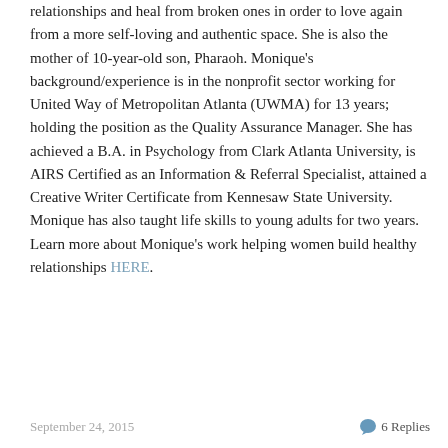relationships and heal from broken ones in order to love again from a more self-loving and authentic space. She is also the mother of 10-year-old son, Pharaoh. Monique's background/experience is in the nonprofit sector working for United Way of Metropolitan Atlanta (UWMA) for 13 years; holding the position as the Quality Assurance Manager. She has achieved a B.A. in Psychology from Clark Atlanta University, is AIRS Certified as an Information & Referral Specialist, attained a Creative Writer Certificate from Kennesaw State University. Monique has also taught life skills to young adults for two years. Learn more about Monique's work helping women build healthy relationships HERE.
September 24, 2015    6 Replies